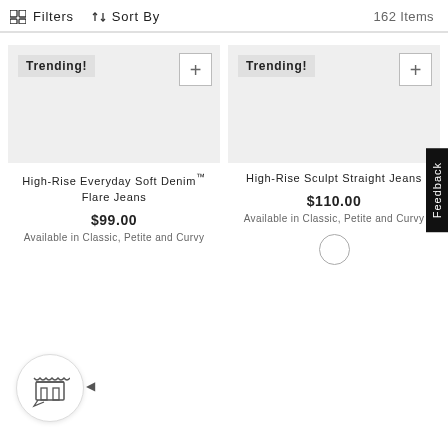Filters  Sort By  162 Items
Trending!
High-Rise Everyday Soft Denim™ Flare Jeans
$99.00
Available in Classic, Petite and Curvy
Trending!
High-Rise Sculpt Straight Jeans
$110.00
Available in Classic, Petite and Curvy
[Figure (other): Color swatch circle (white/outline)]
Feedback
[Figure (illustration): Chat/store widget icon at bottom left]